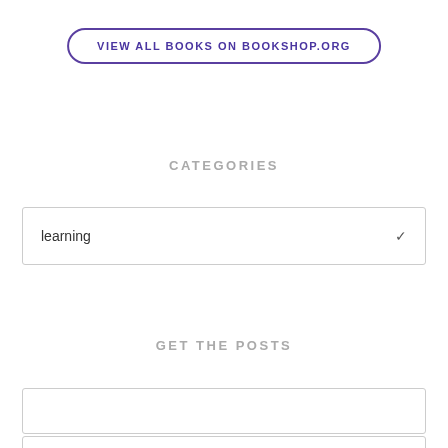VIEW ALL BOOKS ON BOOKSHOP.ORG
CATEGORIES
learning
GET THE POSTS